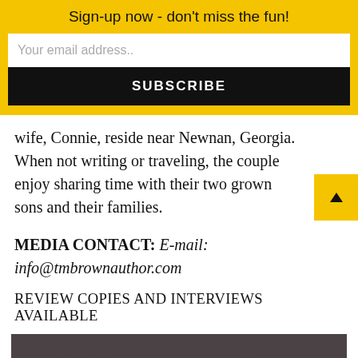Sign-up now - don't miss the fun!
Your email address..
SUBSCRIBE
wife, Connie, reside near Newnan, Georgia. When not writing or traveling, the couple enjoy sharing time with their two grown sons and their families.
MEDIA CONTACT: E-mail: info@tmbrownauthor.com
REVIEW COPIES AND INTERVIEWS AVAILABLE
[Figure (illustration): Book series banner showing 'Shiloh Mystery Series' in decorative gold italic text with author name T. M. BROWN on dark background]